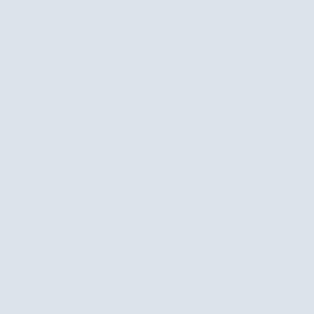robsop1
MB-5
Joined: Jul 09, 2018
Posts: 5
Location: WI
Posted: Sun Jan 1
Well that's interes which is close to r
hogwild113
Silver CB750F
Joined: Jun 13, 2011
Posts: 552
Location: Nashville, TN
Posted: Sun Jan 1
I have 5 1100F's
My earliest frame
My daily rider(my
I have three over
#7026 - bent but,
#7319 - titled in m
#7442 - spare, no
B/W CB1100F Res
R/W CB1100F Orig
X7eater
Hawk
Posted: Sun Jan 1
So 7442 is the hi